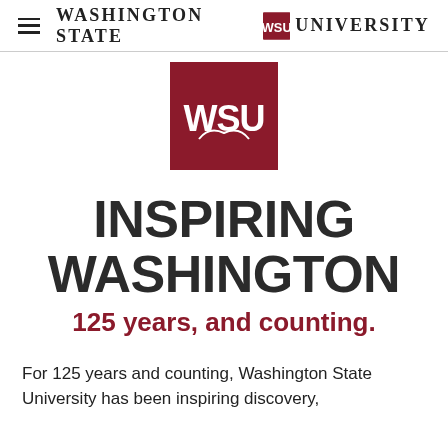Washington State University
[Figure (logo): Washington State University crimson shield logo with WSU Cougar mark in white on dark red background]
INSPIRING WASHINGTON
125 years, and counting.
For 125 years and counting, Washington State University has been inspiring discovery,